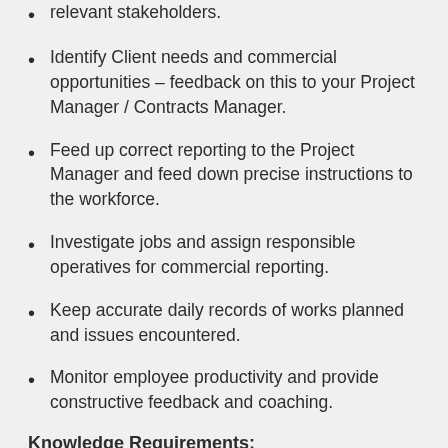relevant stakeholders.
Identify Client needs and commercial opportunities – feedback on this to your Project Manager / Contracts Manager.
Feed up correct reporting to the Project Manager and feed down precise instructions to the workforce.
Investigate jobs and assign responsible operatives for commercial reporting.
Keep accurate daily records of works planned and issues encountered.
Monitor employee productivity and provide constructive feedback and coaching.
Knowledge Requirements:
Experience and a strong understanding